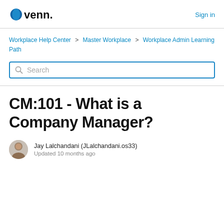venn. Sign in
Workplace Help Center > Master Workplace > Workplace Admin Learning Path
Search
CM:101 - What is a Company Manager?
Jay Lalchandani (JLalchandani.os33)
Updated 10 months ago